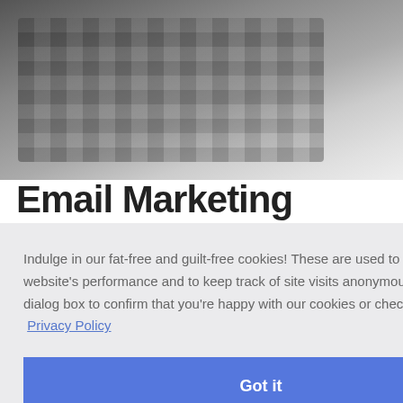[Figure (photo): Blurred grayscale photo of a laptop keyboard viewed from above at an angle]
Email Marketing
Indulge in our fat-free and guilt-free cookies! These are used to improve the website's performance and to keep track of site visits anonymously. Close this dialog box to confirm that you're happy with our cookies or check out our  Privacy Policy
Got it